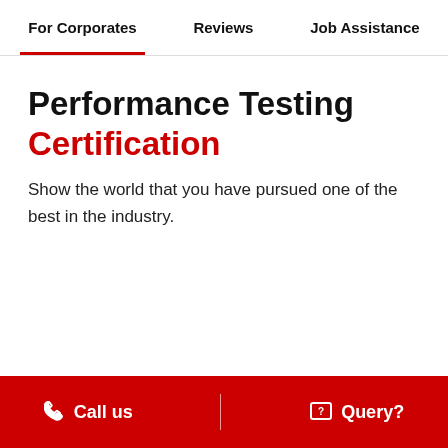For Corporates | Reviews | Job Assistance
Performance Testing Certification
Show the world that you have pursued one of the best in the industry.
Call us | Query?